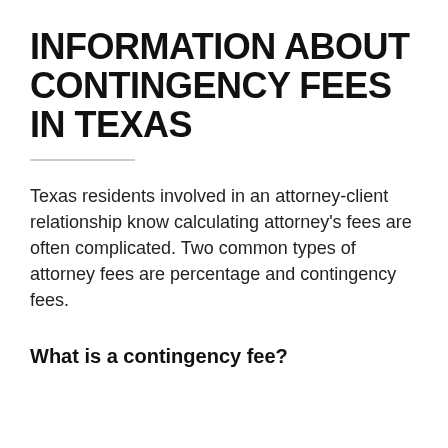INFORMATION ABOUT CONTINGENCY FEES IN TEXAS
Texas residents involved in an attorney-client relationship know calculating attorney's fees are often complicated. Two common types of attorney fees are percentage and contingency fees.
What is a contingency fee?